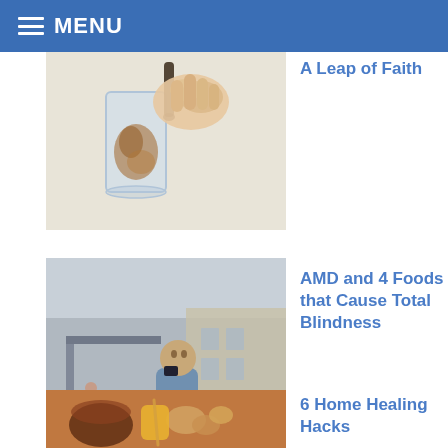MENU
[Figure (photo): Hand dropping liquid into a glass of water with brown ink diffusing]
A Leap of Faith
[Figure (photo): Blind man with cane sitting on bench at bus stop using phone]
AMD and 4 Foods that Cause Total Blindness
[Figure (photo): Tea, honey, ginger and nuts on a warm brown background]
6 Home Healing Hacks